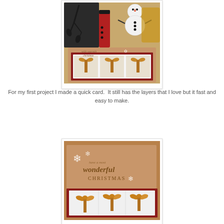[Figure (photo): Christmas card craft photo showing a kraft brown card with red layer, white mat, three gold glitter bows on cellophane packets, snowflake embellishments, and a handwritten 'wonderful Christmas' sentiment. Background shows a snowman and Santa Claus paper craft decorations.]
For my first project I made a quick card.  It still has the layers that I love but it fast and easy to make.
[Figure (photo): Close-up of a Christmas card showing kraft brown cardstock with a snowflake stamp, cursive 'wonderful CHRISTMAS' sentiment stamp, red cardstock layer, white mat, and gold glitter bows on clear cellophane at the bottom.]